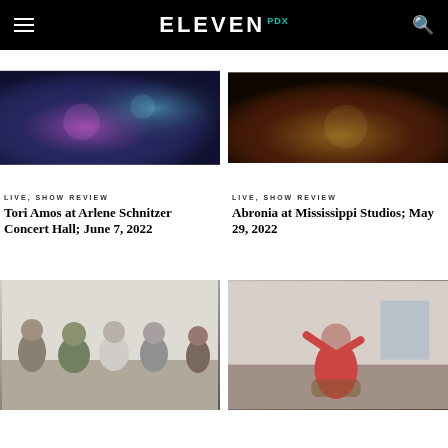ELEVEN PDX
[Figure (photo): Dark concert photo with colorful lights, top left]
[Figure (photo): Dark concert photo with warm stage lighting, top right]
LIVE, SHOW REVIEW
Tori Amos at Arlene Schnitzer Concert Hall; June 7, 2022
LIVE, SHOW REVIEW
Abronia at Mississippi Studios; May 29, 2022
[Figure (photo): Group of people sitting together for a photo, bottom left]
[Figure (photo): Person in red top performing or speaking, bottom right]